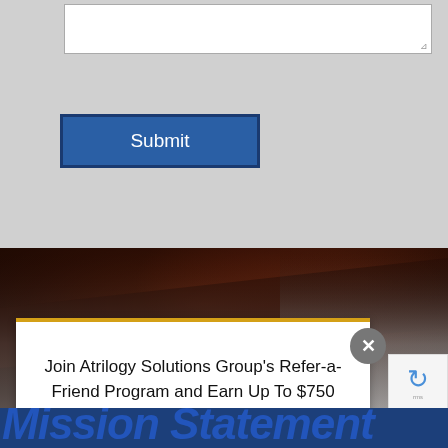[Figure (screenshot): Top gray form area with a white textarea input box and a blue Submit button]
[Figure (photo): Close-up photo of dark brown fur or hair texture, fading to gray at bottom]
Join Atrilogy Solutions Group's Refer-a-Friend Program and Earn Up To $750
Mission Statement